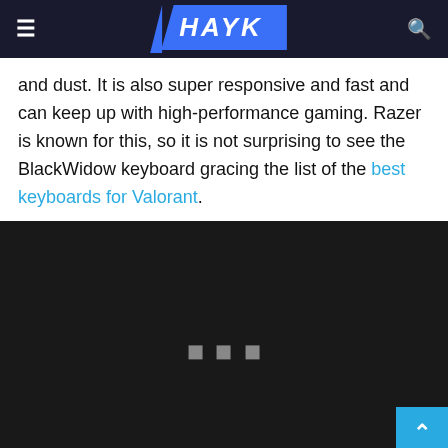HAYK
and dust. It is also super responsive and fast and can keep up with high-performance gaming. Razer is known for this, so it is not surprising to see the BlackWidow keyboard gracing the list of the best keyboards for Valorant.
[Figure (photo): Dark/black image area with loading dots indicator in the center and a back-to-top button in the bottom-right corner]